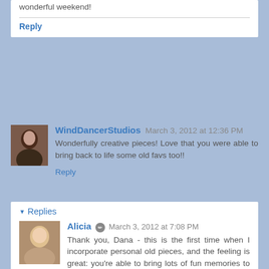wonderful weekend!
Reply
WindDancerStudios March 3, 2012 at 12:36 PM
Wonderfully creative pieces! Love that you were able to bring back to life some old favs too!!
Reply
Replies
Alicia March 3, 2012 at 7:08 PM
Thank you, Dana - this is the first time when I incorporate personal old pieces, and the feeling is great: you're able to bring lots of fun memories to present, and to share them too.
Reply